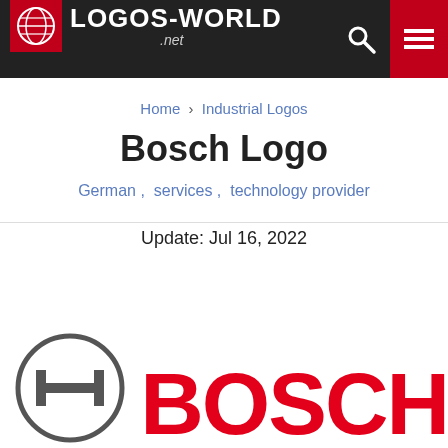LOGOS-WORLD .net
Home › Industrial Logos
Bosch Logo
German ,  services ,  technology provider
Update: Jul 16, 2022
Download PNG
[Figure (logo): Bosch circular symbol logo (grey outline circle with H shape inside) and BOSCH wordmark in red]